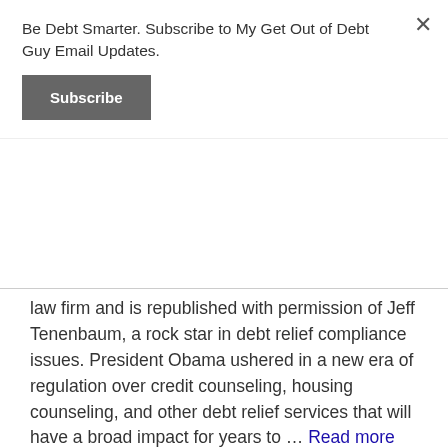Be Debt Smarter. Subscribe to My Get Out of Debt Guy Email Updates.
Subscribe
law firm and is republished with permission of Jeff Tenenbaum, a rock star in debt relief compliance issues. President Obama ushered in a new era of regulation over credit counseling, housing counseling, and other debt relief services that will have a broad impact for years to … Read more
Debt Articles, Debt Relief Industry, Regulation / Legislation
cfpa, CFPB, Consumer Financial Protection Act, credit counseling agencies, debt management